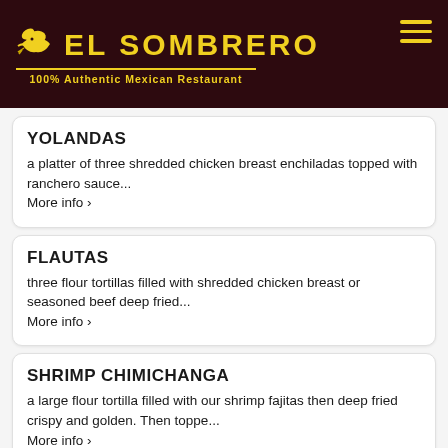EL SOMBRERO — 100% Authentic Mexican Restaurant
YOLANDAS
a platter of three shredded chicken breast enchiladas topped with ranchero sauce... More info >
FLAUTAS
three flour tortillas filled with shredded chicken breast or seasoned beef deep fried... More info >
SHRIMP CHIMICHANGA
a large flour tortilla filled with our shrimp fajitas then deep fried crispy and golden. Then toppe... More info >